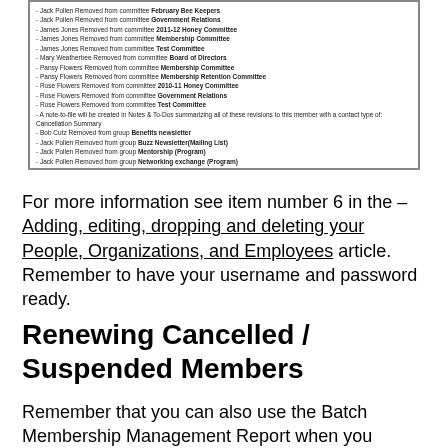[Figure (screenshot): Screenshot of a list showing various members removed from committees and groups, including Jack Pollen, James Jones, Mary Weatherbee, Pansy Flowers, Rose Flowers, Bob Cutz removed from committees/groups.]
For more information see item number 6 in the – Adding, editing, dropping and deleting your People, Organizations, and Employees article. Remember to have your username and password ready.
Renewing Cancelled / Suspended Members
Remember that you can also use the Batch Membership Management Report when you renew a cancelled/suspended member...